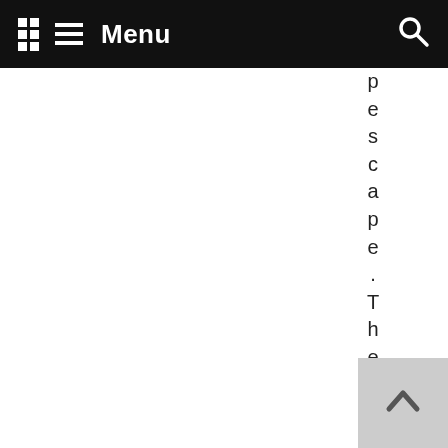Menu
pescape. They have to be pu